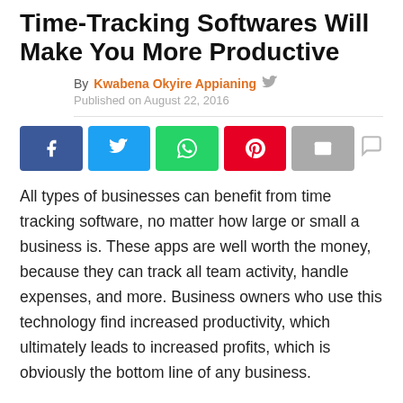Time-Tracking Softwares Will Make You More Productive
By Kwabena Okyire Appianing
Published on August 22, 2016
[Figure (infographic): Social share buttons: Facebook, Twitter, WhatsApp, Pinterest, Email, and a comment icon]
All types of businesses can benefit from time tracking software, no matter how large or small a business is. These apps are well worth the money, because they can track all team activity, handle expenses, and more. Business owners who use this technology find increased productivity, which ultimately leads to increased profits, which is obviously the bottom line of any business.
Benefits of Using Time Tracking Software